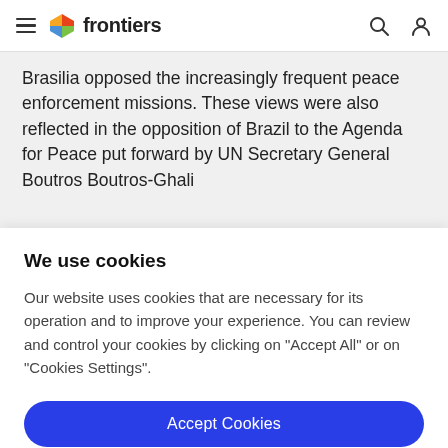frontiers
Brasilia opposed the increasingly frequent peace enforcement missions. These views were also reflected in the opposition of Brazil to the Agenda for Peace put forward by UN Secretary General Boutros Boutros-Ghali
We use cookies
Our website uses cookies that are necessary for its operation and to improve your experience. You can review and control your cookies by clicking on "Accept All" or on "Cookies Settings".
Accept Cookies
Cookies Settings